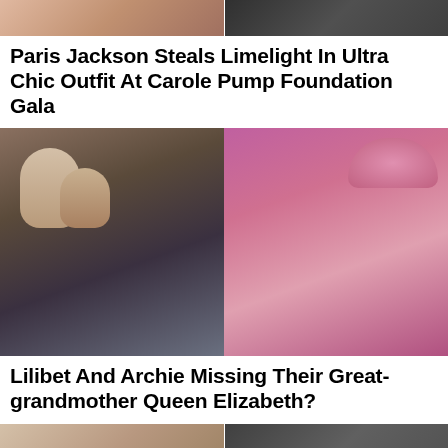[Figure (photo): Two cropped photos at top: left shows a person in warm/pink tones, right shows a person in dark formal attire]
Paris Jackson Steals Limelight In Ultra Chic Outfit At Carole Pump Foundation Gala
[Figure (photo): Large composite photo: left half shows a family group (Harry, Meghan, children) seated casually; right half shows Queen Elizabeth II in pink coat and hat holding flowers]
Lilibet And Archie Missing Their Great-grandmother Queen Elizabeth?
[Figure (photo): Two cropped photos at bottom: left shows a close-up face (light skin tones), right shows figures in dark clothing]